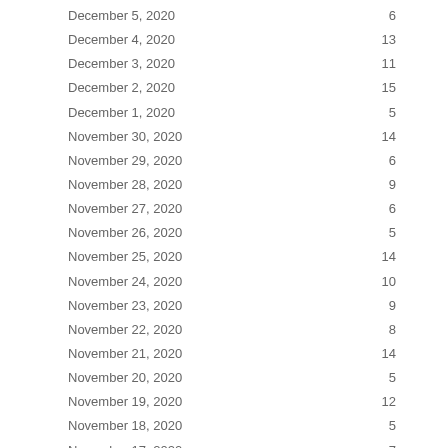| Date | Value |
| --- | --- |
| December 5, 2020 | 6 |
| December 4, 2020 | 13 |
| December 3, 2020 | 11 |
| December 2, 2020 | 15 |
| December 1, 2020 | 5 |
| November 30, 2020 | 14 |
| November 29, 2020 | 6 |
| November 28, 2020 | 9 |
| November 27, 2020 | 6 |
| November 26, 2020 | 5 |
| November 25, 2020 | 14 |
| November 24, 2020 | 10 |
| November 23, 2020 | 9 |
| November 22, 2020 | 8 |
| November 21, 2020 | 14 |
| November 20, 2020 | 5 |
| November 19, 2020 | 12 |
| November 18, 2020 | 5 |
| November 17, 2020 | 7 |
| November 16, 2020 | 9 |
| November 15, 2020 | 5 |
| November 14, 2020 | 10 |
| November 13, 2020 | 14 |